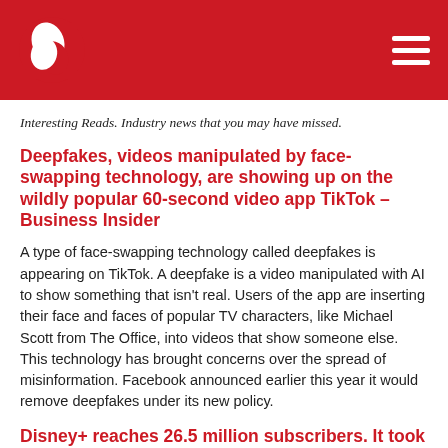Polar logo and navigation menu
Interesting Reads. Industry news that you may have missed.
Deepfakes, videos manipulated by face-swapping technology, are showing up on the wildly popular 60-second video app TikTok – Business Insider
A type of face-swapping technology called deepfakes is appearing on TikTok. A deepfake is a video manipulated with AI to show something that isn't real. Users of the app are inserting their face and faces of popular TV characters, like Michael Scott from The Office, into videos that show someone else. This technology has brought concerns over the spread of misinformation. Facebook announced earlier this year it would remove deepfakes under its new policy.
Disney+ reaches 26.5 million subscribers. It took Netflix five years to get there – Forbes